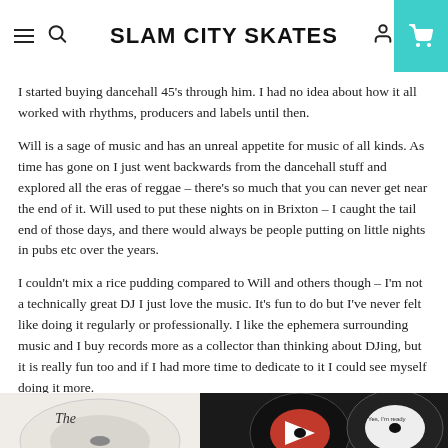SLAM CITY SKATES
I started buying dancehall 45's through him. I had no idea about how it all worked with rhythms, producers and labels until then.
Will is a sage of music and has an unreal appetite for music of all kinds. As time has gone on I just went backwards from the dancehall stuff and explored all the eras of reggae – there's so much that you can never get near the end of it. Will used to put these nights on in Brixton – I caught the tail end of those days, and there would always be people putting on little nights in pubs etc over the years.
I couldn't mix a rice pudding compared to Will and others though – I'm not a technically great DJ I just love the music. It's fun to do but I've never felt like doing it regularly or professionally. I like the ephemera surrounding music and I buy records more as a collector than thinking about DJing, but it is really fun too and if I had more time to dedicate to it I could see myself doing it more.
[Figure (photo): Vinyl record labels shown at bottom of page]